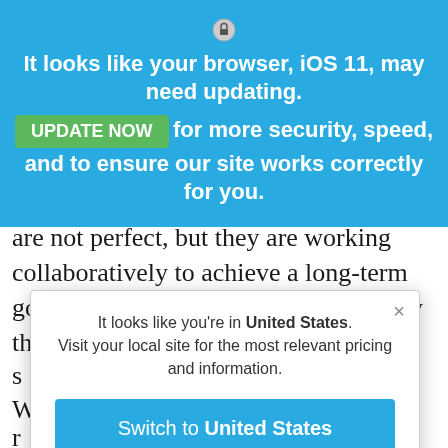[Figure (screenshot): Lock icon at top of blue browser update banner]
It looks like your browser, iOS 11, may need updating.
UPDATE NOW  for more security, speed, and to ensure our site works correctly for you.
are not perfect, but they are working collaboratively to achieve a long-term goal. These regions are evaluated every three years t...
It looks like you're in United States. Visit your local site for the most relevant pricing and information.
Switch to United States